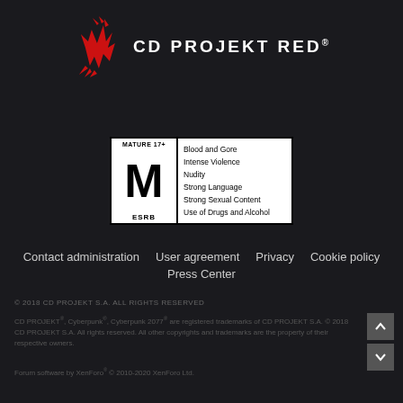[Figure (logo): CD PROJEKT RED logo with red bird/phoenix icon and white text 'CD PROJEKT RED']
[Figure (other): ESRB Mature 17+ rating box with M rating. Content descriptors: Blood and Gore, Intense Violence, Nudity, Strong Language, Strong Sexual Content, Use of Drugs and Alcohol]
Contact administration   User agreement   Privacy   Cookie policy   Press Center
© 2018 CD PROJEKT S.A. ALL RIGHTS RESERVED
CD PROJEKT®, Cyberpunk®, Cyberpunk 2077® are registered trademarks of CD PROJEKT S.A. © 2018 CD PROJEKT S.A. All rights reserved. All other copyrights and trademarks are the property of their respective owners.
Forum software by XenForo® © 2010-2020 XenForo Ltd.